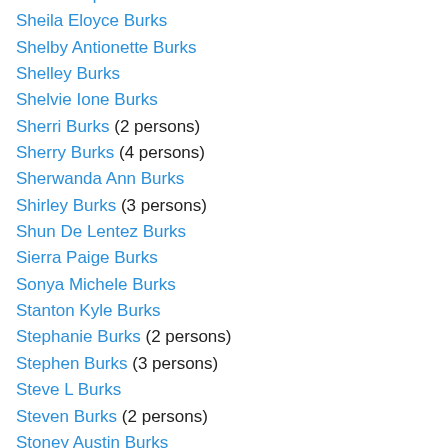Shawneequa Latrice Burks
Sheila Eloyce Burks
Shelby Antionette Burks
Shelley Burks
Shelvie Ione Burks
Sherri Burks (2 persons)
Sherry Burks (4 persons)
Sherwanda Ann Burks
Shirley Burks (3 persons)
Shun De Lentez Burks
Sierra Paige Burks
Sonya Michele Burks
Stanton Kyle Burks
Stephanie Burks (2 persons)
Stephen Burks (3 persons)
Steve L Burks
Steven Burks (2 persons)
Stoney Austin Burks